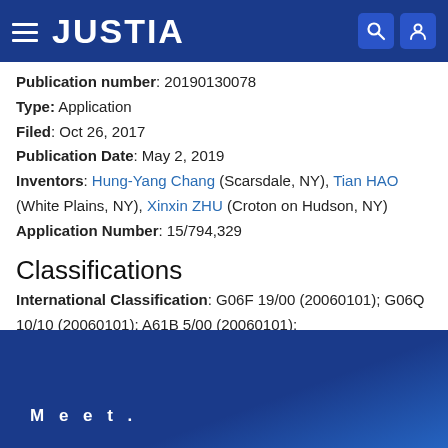JUSTIA
Publication number: 20190130078
Type: Application
Filed: Oct 26, 2017
Publication Date: May 2, 2019
Inventors: Hung-Yang Chang (Scarsdale, NY), Tian HAO (White Plains, NY), Xinxin ZHU (Croton on Hudson, NY)
Application Number: 15/794,329
Classifications
International Classification: G06F 19/00 (20060101); G06Q 10/10 (20060101); A61B 5/00 (20060101);
Meet.